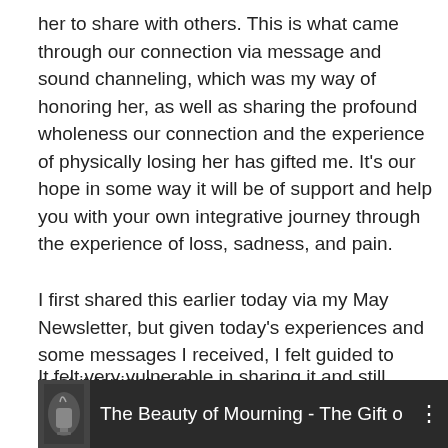her to share with others. This is what came through our connection via message and sound channeling, which was my way of honoring her, as well as sharing the profound wholeness our connection and the experience of physically losing her has gifted me. It's our hope in some way it will be of support and help you with your own integrative journey through the experience of loss, sadness, and pain.
I first shared this earlier today via my May Newsletter, but given today's experiences and some messages I received, I felt guided to post it tonight here.
It felt very vulnerable in sharing it and still does, but here it is.
[Figure (screenshot): Video thumbnail showing a dark image with a person partially visible on the left side and the text 'The Beauty of Mourning - The Gift o' with a menu dots icon on the right.]